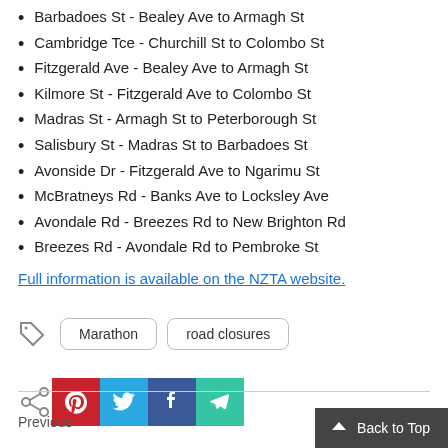Barbadoes St - Bealey Ave to Armagh St
Cambridge Tce - Churchill St to Colombo St
Fitzgerald Ave - Bealey Ave to Armagh St
Kilmore St - Fitzgerald Ave to Colombo St
Madras St - Armagh St to Peterborough St
Salisbury St - Madras St to Barbadoes St
Avonside Dr - Fitzgerald Ave to Ngarimu St
McBratneys Rd - Banks Ave to Locksley Ave
Avondale Rd - Breezes Rd to New Brighton Rd
Breezes Rd - Avondale Rd to Pembroke St
Full information is available on the NZTA website.
Marathon  road closures
[Figure (infographic): Share buttons: share icon, Pinterest (red), Twitter (blue), Facebook (dark blue), Telegram (teal)]
Back to Top
Previous